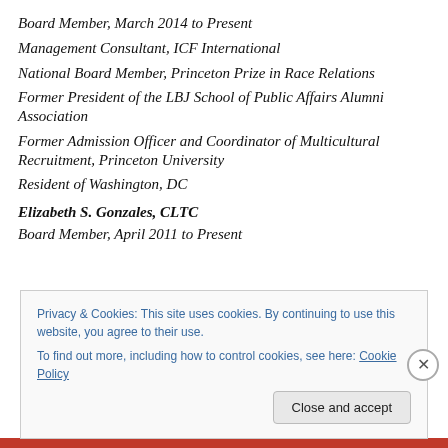Board Member, March 2014 to Present
Management Consultant, ICF International
National Board Member, Princeton Prize in Race Relations
Former President of the LBJ School of Public Affairs Alumni Association
Former Admission Officer and Coordinator of Multicultural Recruitment, Princeton University
Resident of Washington, DC
Elizabeth S. Gonzales, CLTC
Board Member, April 2011 to Present
Privacy & Cookies: This site uses cookies. By continuing to use this website, you agree to their use.
To find out more, including how to control cookies, see here: Cookie Policy